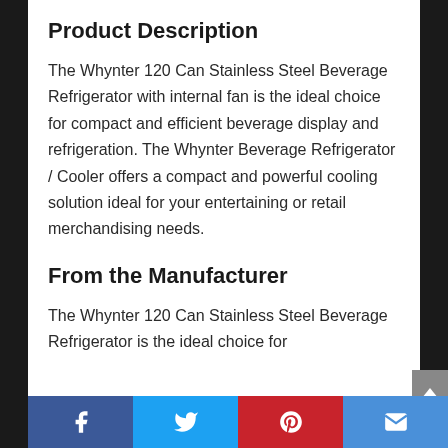Product Description
The Whynter 120 Can Stainless Steel Beverage Refrigerator with internal fan is the ideal choice for compact and efficient beverage display and refrigeration. The Whynter Beverage Refrigerator / Cooler offers a compact and powerful cooling solution ideal for your entertaining or retail merchandising needs.
From the Manufacturer
The Whynter 120 Can Stainless Steel Beverage Refrigerator is the ideal choice for